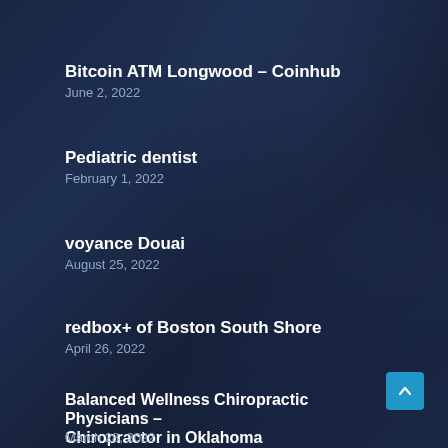Bitcoin ATM Longwood – Coinhub
June 2, 2022
Pediatric dentist
February 1, 2022
voyance Douai
August 25, 2022
redbox+ of Boston South Shore
April 26, 2022
Balanced Wellness Chiropractic Physicians – Chiropractor in Oklahoma
March 28, 2022